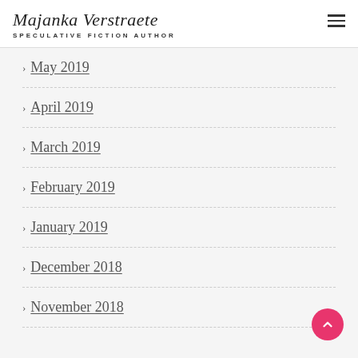Majanka Verstraete — SPECULATIVE FICTION AUTHOR
May 2019
April 2019
March 2019
February 2019
January 2019
December 2018
November 2018